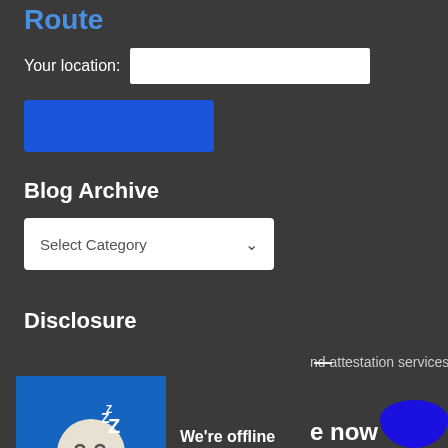Route
Your location:
Blog Archive
Select Category
Disclosure
nd attestation services.
[Figure (screenshot): Chat widget showing sleeping face emoji with 'We're offline' and 'Leave a message' text overlay, with minimize button]
e now